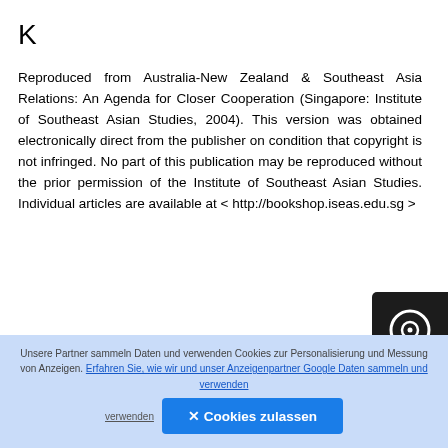K
Reproduced from Australia-New Zealand & Southeast Asia Relations: An Agenda for Closer Cooperation (Singapore: Institute of Southeast Asian Studies, 2004). This version was obtained electronically direct from the publisher on condition that copyright is not infringed. No part of this publication may be reproduced without the prior permission of the Institute of Southeast Asian Studies. Individual articles are available at < http://bookshop.iseas.edu.sg >
Unsere Partner sammeln Daten und verwenden Cookies zur Personalisierung und Messung von Anzeigen. Erfahren Sie, wie wir und unser Anzeigenpartner Google Daten sammeln und verwenden
✕ Cookies zulassen